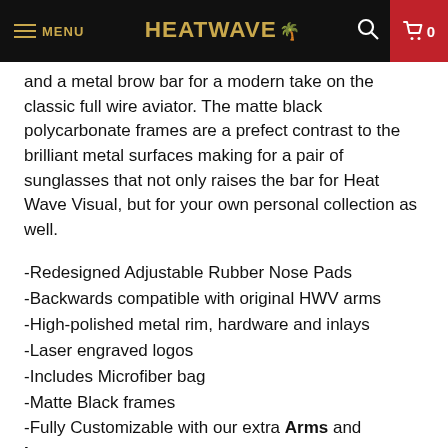MENU  HEATWAVE  0
and a metal brow bar for a modern take on the classic full wire aviator. The matte black polycarbonate frames are a prefect contrast to the brilliant metal surfaces making for a pair of sunglasses that not only raises the bar for Heat Wave Visual, but for your own personal collection as well.
-Redesigned Adjustable Rubber Nose Pads
-Backwards compatible with original HWV arms
-High-polished metal rim, hardware and inlays
-Laser engraved logos
-Includes Microfiber bag
-Matte Black frames
-Fully Customizable with our extra Arms and Lenses
-No tools or hardware required for customization